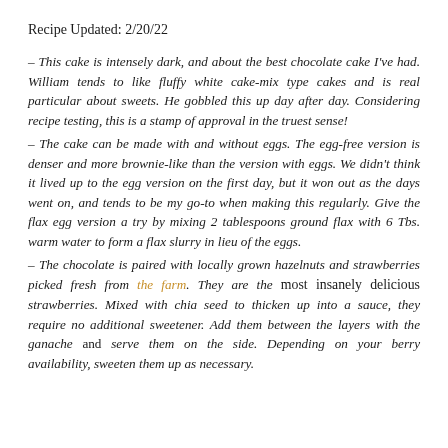Recipe Updated: 2/20/22
– This cake is intensely dark, and about the best chocolate cake I've had. William tends to like fluffy white cake-mix type cakes and is real particular about sweets. He gobbled this up day after day. Considering recipe testing, this is a stamp of approval in the truest sense!
– The cake can be made with and without eggs. The egg-free version is denser and more brownie-like than the version with eggs. We didn't think it lived up to the egg version on the first day, but it won out as the days went on, and tends to be my go-to when making this regularly. Give the flax egg version a try by mixing 2 tablespoons ground flax with 6 Tbs. warm water to form a flax slurry in lieu of the eggs.
– The chocolate is paired with locally grown hazelnuts and strawberries picked fresh from the farm. They are the most insanely delicious strawberries. Mixed with chia seed to thicken up into a sauce, they require no additional sweetener. Add them between the layers with the ganache and serve them on the side. Depending on your berry availability, sweeten them up as necessary.